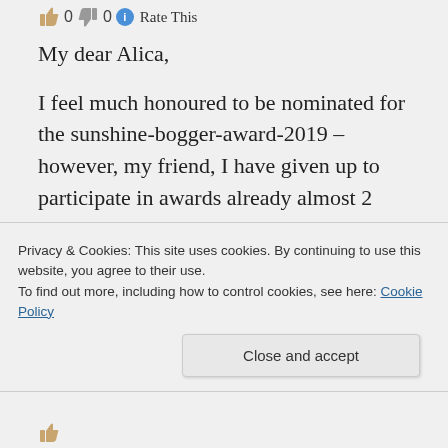👍 0 👎 0 ℹ Rate This
My dear Alica,
I feel much honoured to be nominated for the sunshine-bogger-award-2019 – however, my friend, I have given up to participate in awards already almost 2 years ago since I had received very many of them and think that it is good that other may now be given this opportunity, these honourable awards.
Privacy & Cookies: This site uses cookies. By continuing to use this website, you agree to their use.
To find out more, including how to control cookies, see here: Cookie Policy
Close and accept